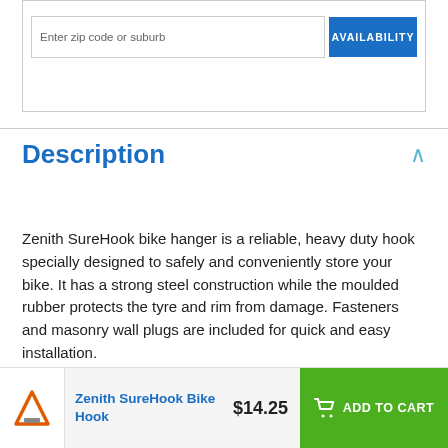Description
Zenith SureHook bike hanger is a reliable, heavy duty hook specially designed to safely and conveniently store your bike. It has a strong steel construction while the moulded rubber protects the tyre and rim from damage. Fasteners and masonry wall plugs are included for quick and easy installation.
Specifications
Zenith SureHook Bike Hook
$14.25
ADD TO CART